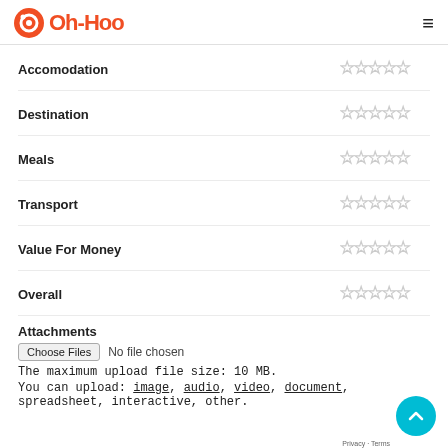Oh-Hoo
Accomodation ☆☆☆☆☆
Destination ☆☆☆☆☆
Meals ☆☆☆☆☆
Transport ☆☆☆☆☆
Value For Money ☆☆☆☆☆
Overall ☆☆☆☆☆
Attachments
Choose Files  No file chosen
The maximum upload file size: 10 MB.
You can upload: image, audio, video, document, spreadsheet, interactive, other.